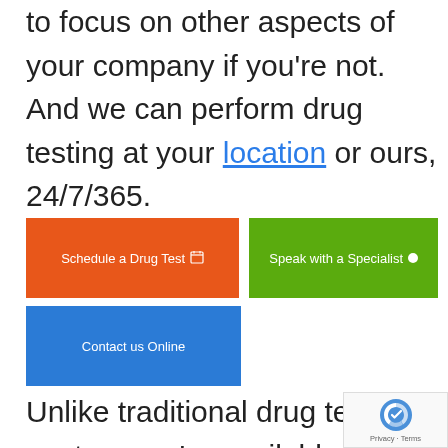to focus on other aspects of your company if you're not. And we can perform drug testing at your location or ours, 24/7/365.
[Figure (other): Three call-to-action buttons: 'Schedule a Drug Test' (orange), 'Speak with a Specialist' (green), 'Contact us Online' (blue)]
Unlike traditional drug testing centers, we're available 24/7—and we come your jobsite to minimize downtime.